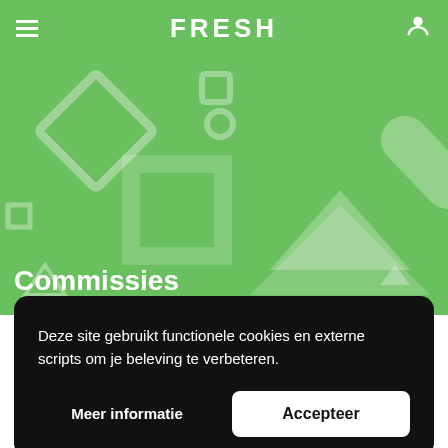FRESH
[Figure (illustration): Green hero banner with decorative geometric shapes (diamond, square, chevron, checkmark outlines in lighter green) and the title 'Commissies' in white bold text at the bottom left.]
Commissies
Deze site gebruikt functionele cookies en externe scripts om je beleving te verbeteren.
Meer informatie
Accepteer
kun je alvast een kijkje nemen hoe het er in de praktijk